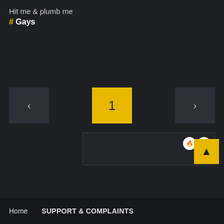Hit me & plumb me
# Gays
[Figure (screenshot): Web UI showing pagination with left arrow button, center yellow page number button showing '1', right arrow button, and a dark content area below with two circular icon buttons in the top-right corner and a yellow scroll-to-top button at the bottom-right.]
Home  SUPPORT & COMPLAINTS